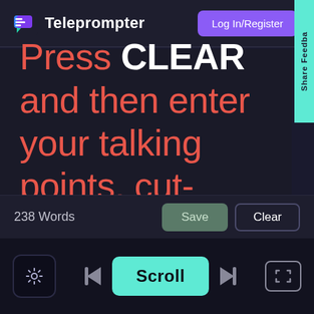[Figure (screenshot): Teleprompter app logo — a teal/green chat-bubble icon]
Teleprompter
Log In/Register
Share Feedba
Press CLEAR and then enter your talking points, cut-
238 Words
Save
Clear
[Figure (screenshot): Settings gear icon button]
Scroll
Previous and Next navigation arrows, fullscreen button